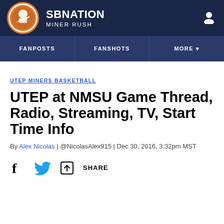SB NATION / MINER RUSH
FANPOSTS | FANSHOTS | MORE
UTEP MINERS BASKETBALL
UTEP at NMSU Game Thread, Radio, Streaming, TV, Start Time Info
By Alex Nicolas | @NicolasAlex915 | Dec 30, 2016, 3:32pm MST